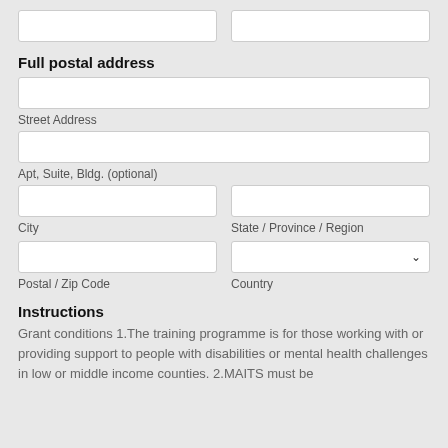[Two input fields at top]
Full postal address
Street Address
Apt, Suite, Bldg. (optional)
City
State / Province / Region
Postal / Zip Code
Country
Instructions
Grant conditions 1.The training programme is for those working with or providing support to people with disabilities or mental health challenges in low or middle income counties. 2.MAITS must be